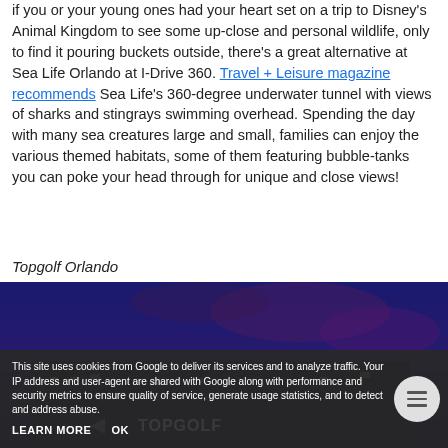if you or your young ones had your heart set on a trip to Disney's Animal Kingdom to see some up-close and personal wildlife, only to find it pouring buckets outside, there's a great alternative at Sea Life Orlando at I-Drive 360. Travel + Leisure magazine recommends Sea Life's 360-degree underwater tunnel with views of sharks and stingrays swimming overhead. Spending the day with many sea creatures large and small, families can enjoy the various themed habitats, some of them featuring bubble-tanks you can poke your head through for unique and close views!
Topgolf Orlando
[Figure (photo): Exterior photo of Topgolf Orlando at dusk/night with a dark blue-purple sky and illuminated building facade with TOPGOLF signage visible at bottom]
This site uses cookies from Google to deliver its services and to analyze traffic. Your IP address and user-agent are shared with Google along with performance and security metrics to ensure quality of service, generate usage statistics, and to detect and address abuse.